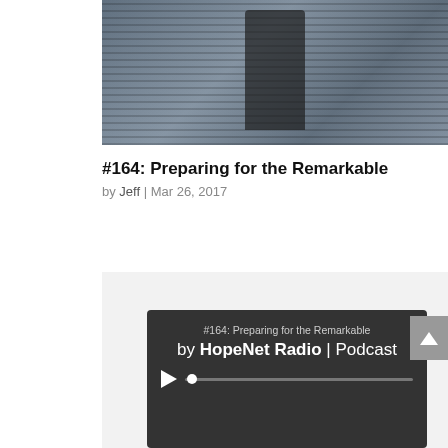[Figure (photo): Black and white photo of a person in a leather jacket standing in front of a metal shutter covered in graffiti]
#164: Preparing for the Remarkable
by Jeff | Mar 26, 2017
[Figure (screenshot): Dark podcast player card showing title '#164: Preparing for the Remarkable' by HopeNet Radio | Podcast with a play button and progress bar]